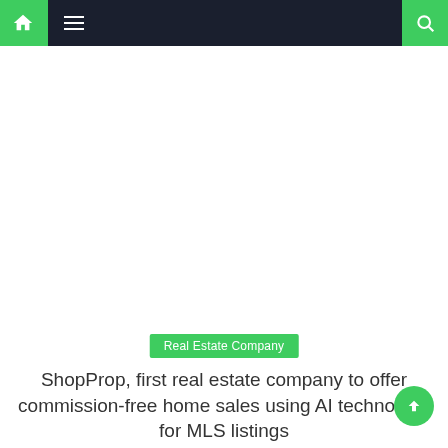[Figure (screenshot): Website navigation bar with dark navy background, green home icon on left, hamburger menu icon in center, and green search icon on right]
Real Estate Company
ShopProp, first real estate company to offer commission-free home sales using AI technology for MLS listings